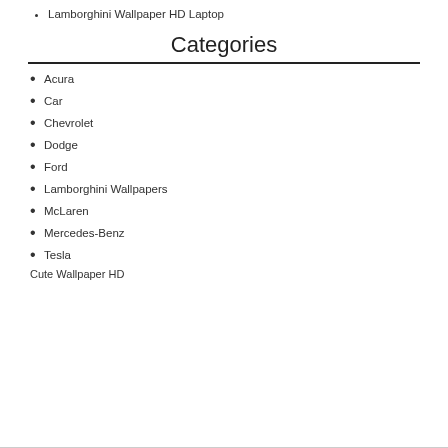Lamborghini Wallpaper HD Laptop
Categories
Acura
Car
Chevrolet
Dodge
Ford
Lamborghini Wallpapers
McLaren
Mercedes-Benz
Tesla
Cute Wallpaper HD